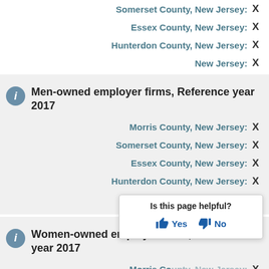Somerset County, New Jersey: X
Essex County, New Jersey: X
Hunterdon County, New Jersey: X
New Jersey: X
Men-owned employer firms, Reference year 2017
Morris County, New Jersey: X
Somerset County, New Jersey: X
Essex County, New Jersey: X
Hunterdon County, New Jersey: X
New Jersey: X
Women-owned employer firms, Reference year 2017
Morris County, New Jersey: X
Somerset County, New Jersey: X